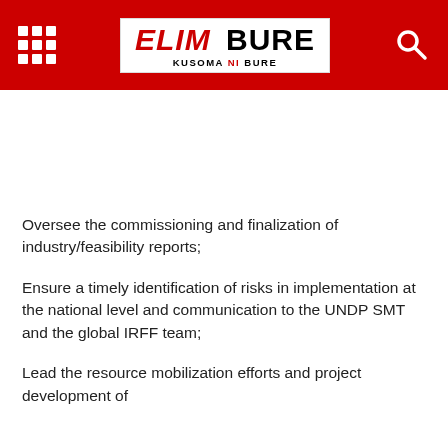ELIM BURE — KUSOMA NI BURE
Oversee the commissioning and finalization of industry/feasibility reports;
Ensure a timely identification of risks in implementation at the national level and communication to the UNDP SMT and the global IRFF team;
Lead the resource mobilization efforts and project development of